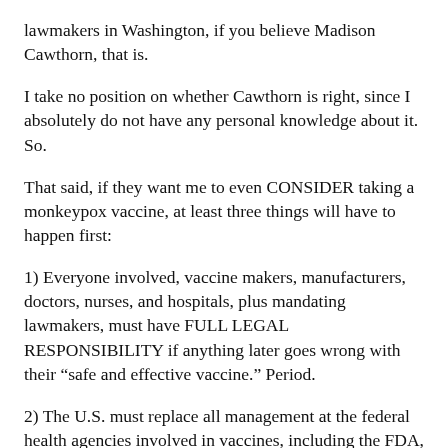lawmakers in Washington, if you believe Madison Cawthorn, that is.
I take no position on whether Cawthorn is right, since I absolutely do not have any personal knowledge about it. So.
That said, if they want me to even CONSIDER taking a monkeypox vaccine, at least three things will have to happen first:
1) Everyone involved, vaccine makers, manufacturers, doctors, nurses, and hospitals, plus mandating lawmakers, must have FULL LEGAL RESPONSIBILITY if anything later goes wrong with their “safe and effective vaccine.” Period.
2) The U.S. must replace all management at the federal health agencies involved in vaccines, including the FDA, the CDC, and the NIH, with scientists having unimpeachable credentials and who proved their scientific independence during the